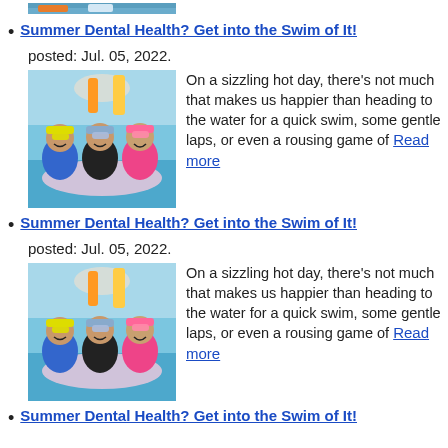[Figure (photo): Top portion of children swimming photo, cropped at top of page]
Summer Dental Health? Get into the Swim of It!
posted: Jul. 05, 2022.
[Figure (photo): Three children wearing swim goggles on their heads, smiling and leaning on a pool float at a water park]
On a sizzling hot day, there’s not much that makes us happier than heading to the water for a quick swim, some gentle laps, or even a rousing game of Read more
Summer Dental Health? Get into the Swim of It!
posted: Jul. 05, 2022.
[Figure (photo): Three children wearing swim goggles on their heads, smiling and leaning on a pool float at a water park]
On a sizzling hot day, there’s not much that makes us happier than heading to the water for a quick swim, some gentle laps, or even a rousing game of Read more
Summer Dental Health? Get into the Swim of It!